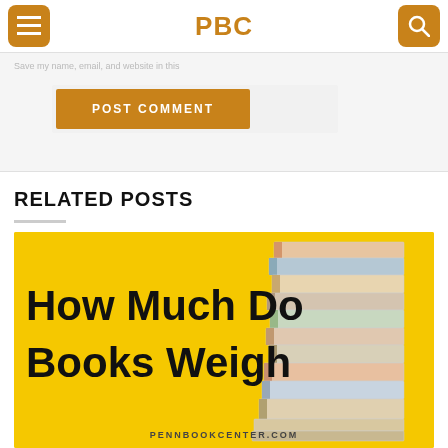PBC
rowser for the next time I comment.
POST COMMENT
RELATED POSTS
[Figure (photo): Yellow background promotional image for 'How Much Do Books Weigh' article from pennbookcenter.com, featuring a stack of books on the right side and bold black text on yellow background.]